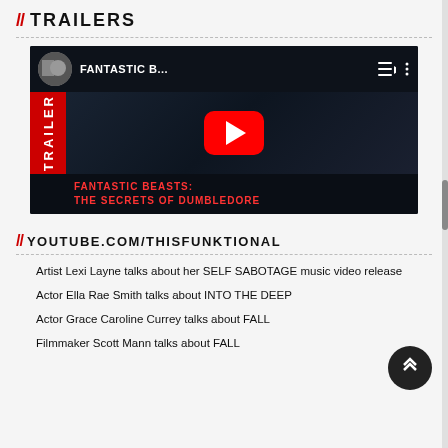// TRAILERS
[Figure (screenshot): YouTube video thumbnail for Fantastic Beasts: The Secrets of Dumbledore trailer, showing a dark atmospheric scene with red play button and TRAILER text on left side]
// YOUTUBE.COM/THISFUNKTIONAL
Artist Lexi Layne talks about her SELF SABOTAGE music video release
Actor Ella Rae Smith talks about INTO THE DEEP
Actor Grace Caroline Currey talks about FALL
Filmmaker Scott Mann talks about FALL